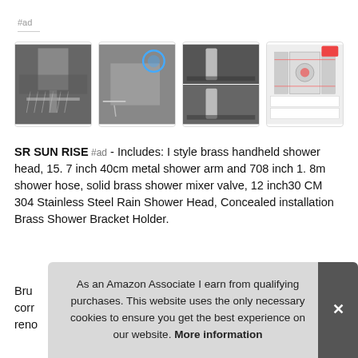#ad
[Figure (photo): Four product images of a rain shower system in a horizontal row. First image shows a large rain shower head with water flowing. Second shows angled view of shower head with blue circle highlight. Third shows two views of handheld shower head. Fourth shows a technical diagram/schematic of the shower valve system.]
SR SUN RISE #ad - Includes: I style brass handheld shower head, 15. 7 inch 40cm metal shower arm and 708 inch 1. 8m shower hose, solid brass shower mixer valve, 12 inch30 CM 304 Stainless Steel Rain Shower Head, Concealed installation Brass Shower Bracket Holder.
Bru... corr... reno...
As an Amazon Associate I earn from qualifying purchases. This website uses the only necessary cookies to ensure you get the best experience on our website. More information